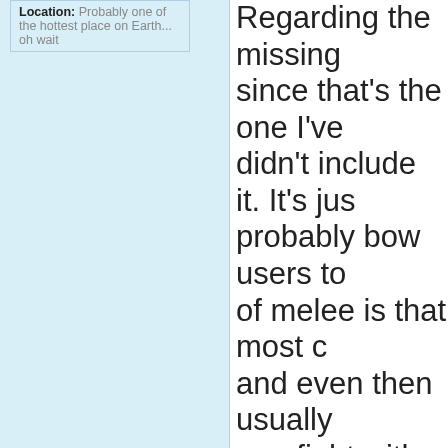Location: Probably one of the hottest place on Earth... oh wait
Regarding the missing since that's the one I've didn't include it. It's just probably bow users to of melee is that most c and even then usually one fight with him take that and because of m avoided it by just havi trapped in that circle c users but with ranged I can't offer up any me That being a dangerou experiences so it's the enough competency th getting that competen like the jumping slam a that they should be ne Satan strategy I said s